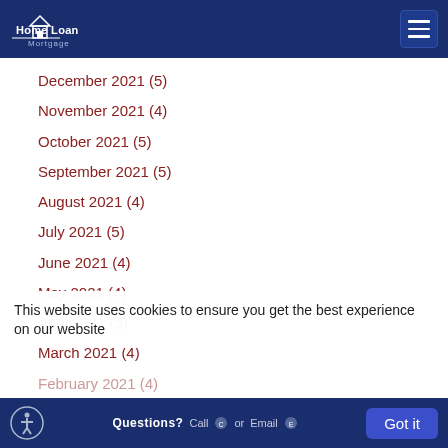Home Loan Mortgage
December 2021 (5)
November 2021 (4)
October 2021 (5)
September 2021 (5)
August 2021 (4)
July 2021 (5)
June 2021 (4)
May 2021 (4)
April 2021 (5)
March 2021 (4)
February 2021 (4)
This website uses cookies to ensure you get the best experience on our website
Questions? Call or Email | Got it